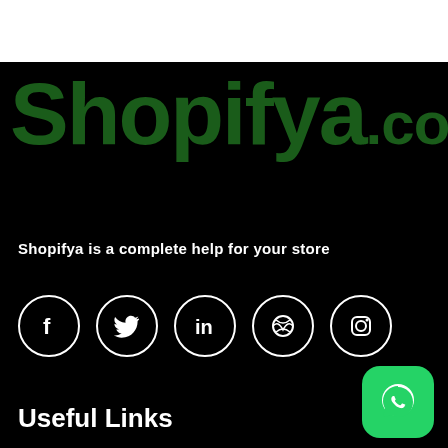[Figure (logo): Shopifya.com logo in dark green on black background]
Shopifya is a complete help for your store
[Figure (infographic): Row of 5 social media icon circles: Facebook, Twitter, LinkedIn, Dribbble, Instagram]
Useful Links
[Figure (logo): WhatsApp green rounded square icon in bottom right corner]